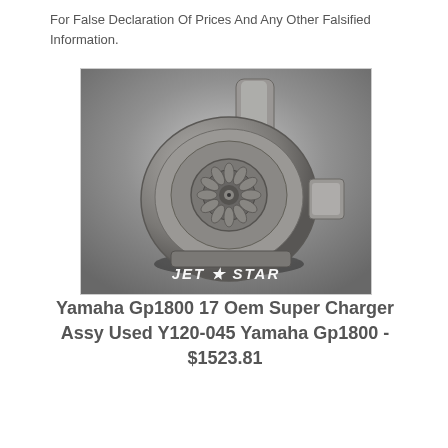For False Declaration Of Prices And Any Other Falsified Information.
[Figure (photo): Photo of a Yamaha Gp1800 supercharger assembly (turbocharger unit) on a gray background, with JET STAR branding logo at the bottom of the image.]
Yamaha Gp1800 17 Oem Super Charger Assy Used Y120-045 Yamaha Gp1800 - $1523.81